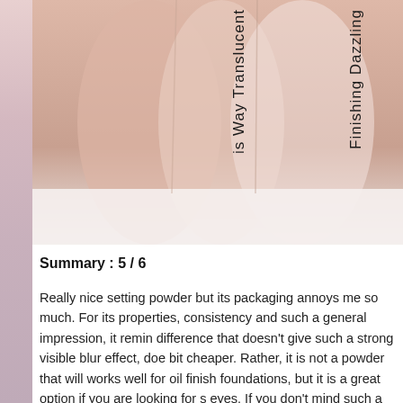[Figure (photo): Close-up photo of skin swatches of setting powder products with vertical text labels reading 'is Way Translucent' and 'Finishing Dazzling' overlaid on the swatches]
Summary : 5 / 6
Really nice setting powder but its packaging annoys me so much. For its properties, consistency and such a general impression, it reminds me of difference that doesn't give such a strong visible blur effect, does a bit cheaper. Rather, it is not a powder that will works well for oil finish foundations, but it is a great option if you are looking for s eyes. If you don't mind such a strainer then it's really nice powd